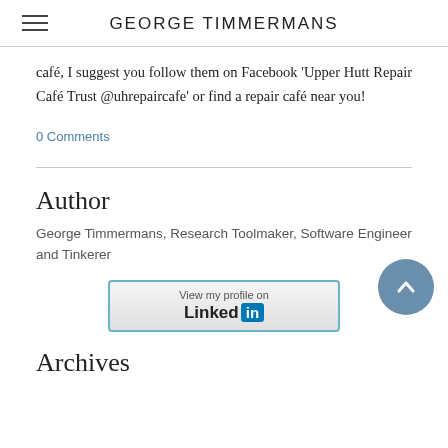GEORGE TIMMERMANS
café, I suggest you follow them on Facebook 'Upper Hutt Repair Café Trust @uhrepaircafe' or find a repair café near you!
0 Comments
Author
George Timmermans, Research Toolmaker, Software Engineer and Tinkerer
[Figure (logo): LinkedIn 'View my profile on Linked in' badge button]
Archives